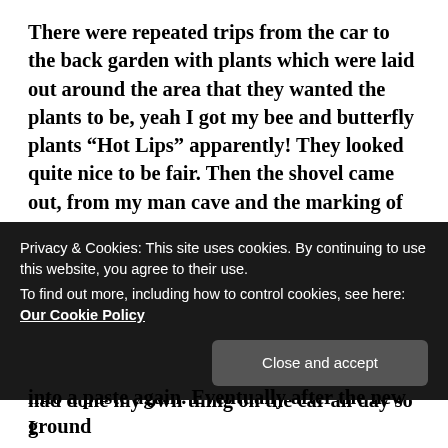There were repeated trips from the car to the back garden with plants which were laid out around the area that they wanted the plants to be, yeah I got my bee and butterfly plants “Hot Lips” apparently! They looked quite nice to be fair. Then the shovel came out, from my man cave and the marking of the grass began. As they decided the ground was too hard to dig it was passed to me to dig. Great, the day has been baking in the high twenties and the earth was like rock. I questioned why now and got told the plants would die if I didn’t. I was reminded that I had done my own thing on the car all day so I
Privacy & Cookies: This site uses cookies. By continuing to use this website, you agree to their use.
To find out more, including how to control cookies, see here: Our Cookie Policy
into a paste again. Eventually after the new ground